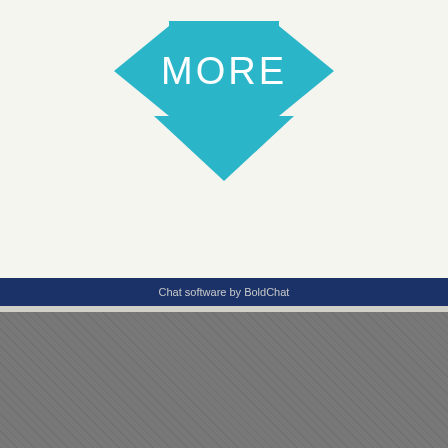[Figure (illustration): Teal/cyan downward arrow with the word MORE written in hand-drawn style letters inside it]
Chat software by BoldChat
Spread the Word  |  In a Crisis?  |  About
Terms of Use  |  Privacy Statement
Parents & Professionals
[Figure (logo): answer sex ed, honestly logo in white]
[Figure (logo): RUTGERS UNIVERSITY logo in white]